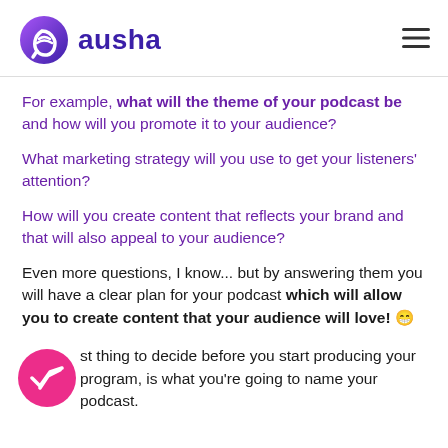ausha
For example, what will the theme of your podcast be and how will you promote it to your audience?
What marketing strategy will you use to get your listeners' attention?
How will you create content that reflects your brand and that will also appeal to your audience?
Even more questions, I know... but by answering them you will have a clear plan for your podcast which will allow you to create content that your audience will love! 😀
O—st thing to decide before you start producing your program, is what you're going to name your podcast.